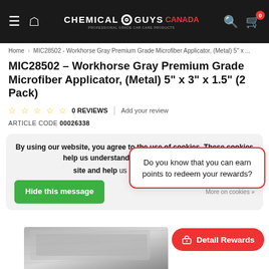Chemical Guys Canada
Home > MIC28502 - Workhorse Gray Premium Grade Microfiber Applicator, (Metal) 5" x ...
MIC28502 - Workhorse Gray Premium Grade Microfiber Applicator, (Metal) 5" x 3" x 1.5" (2 Pack)
0 REVIEWS | Add your review
ARTICLE CODE 00026338
By using our website, you agree to the use of cookies. These cookies help us understand how customers use our site and help us make improvements.
Hide this message
Do you know that you can earn points to redeem your rewards?
Detail Rewards